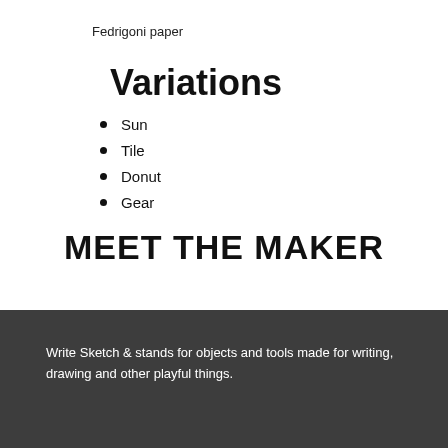Fedrigoni paper
Variations
Sun
Tile
Donut
Gear
MEET THE MAKER
Write Sketch & stands for objects and tools made for writing, drawing and other playful things.